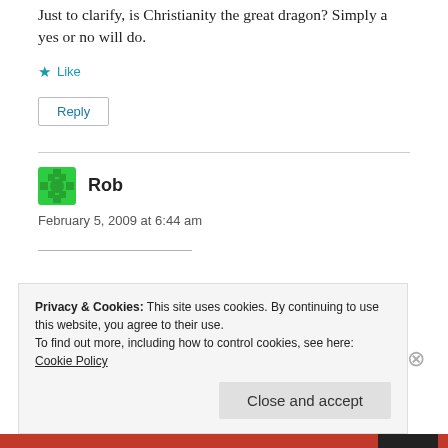Just to clarify, is Christianity the great dragon? Simply a yes or no will do.
★ Like
Reply
Rob
February 5, 2009 at 6:44 am
Privacy & Cookies: This site uses cookies. By continuing to use this website, you agree to their use.
To find out more, including how to control cookies, see here:
Cookie Policy
Close and accept